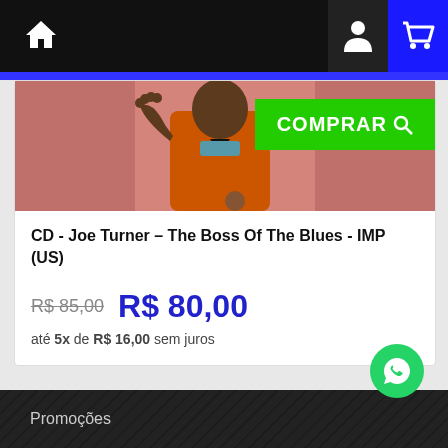Home | User | Cart
[Figure (screenshot): Product image showing a person in an orange outfit with raised hand against a pink background - CD cover art for Joe Turner The Boss Of The Blues]
COMPRAR
CD - Joe Turner – The Boss Of The Blues - IMP (US)
R$ 85,00  R$ 80,00
até 5x de R$ 16,00 sem juros
CATEGORIAS
Promoções